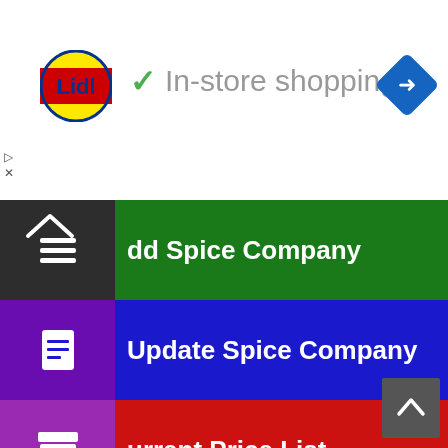[Figure (screenshot): Lidl logo - yellow circle with blue Lidl text on red background]
✓ In-store shopping
[Figure (logo): Blue diamond navigation/direction icon in top right corner]
Add Spice Company
Update Spice Company
Current Price List
Add / Update Business Auxiliary Services
Spice Industry FAQ
Job Search